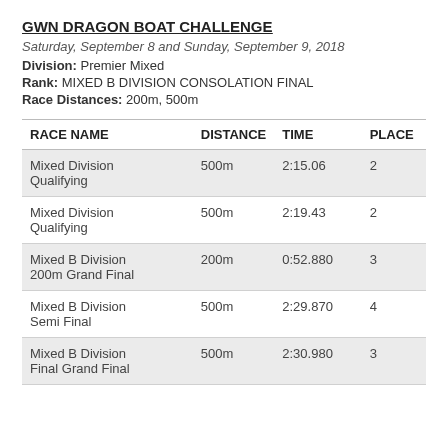GWN DRAGON BOAT CHALLENGE
Saturday, September 8 and Sunday, September 9, 2018
Division: Premier Mixed
Rank: MIXED B DIVISION CONSOLATION FINAL
Race Distances: 200m, 500m
| RACE NAME | DISTANCE | TIME | PLACE |
| --- | --- | --- | --- |
| Mixed Division Qualifying | 500m | 2:15.06 | 2 |
| Mixed Division Qualifying | 500m | 2:19.43 | 2 |
| Mixed B Division 200m Grand Final | 200m | 0:52.880 | 3 |
| Mixed B Division Semi Final | 500m | 2:29.870 | 4 |
| Mixed B Division Final Grand Final | 500m | 2:30.980 | 3 |